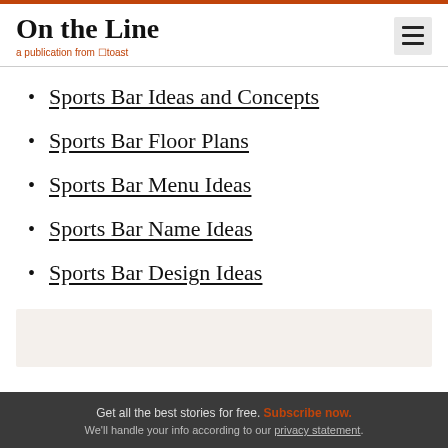On the Line — a publication from Toast
Sports Bar Ideas and Concepts
Sports Bar Floor Plans
Sports Bar Menu Ideas
Sports Bar Name Ideas
Sports Bar Design Ideas
Get all the best stories for free. Subscribe now. We'll handle your info according to our privacy statement.